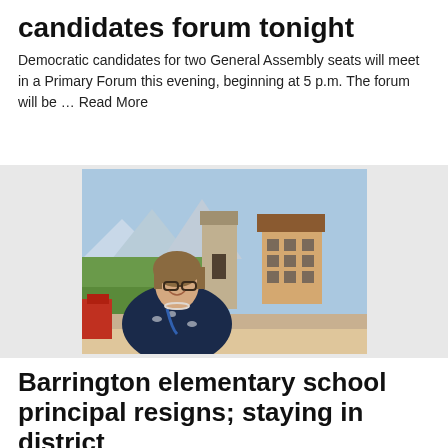candidates forum tonight
Democratic candidates for two General Assembly seats will meet in a Primary Forum this evening, beginning at 5 p.m. The forum will be … Read More
[Figure (photo): A woman with glasses and short brown hair smiling in front of a painted mural of a European village scene]
Barrington elementary school principal resigns; staying in district
Primrose Hill School will start the new year with an interim principal. Pat Tolento announced earlier this month that she was … Read More